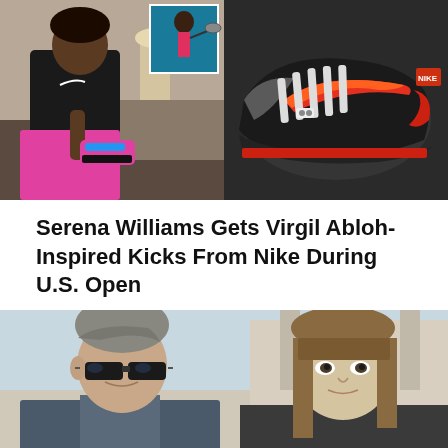[Figure (photo): Two photos side by side: left shows Serena Williams in black Nike top and pink skirt holding colorful sneakers; right shows a close-up of Nike sneakers in black, grey and red with a large swoosh logo]
Serena Williams Gets Virgil Abloh-Inspired Kicks From Nike During U.S. Open
[Figure (photo): Close-up photo of a man with sunglasses and a woman with straight brown hair with bangs, both facing camera outdoors]